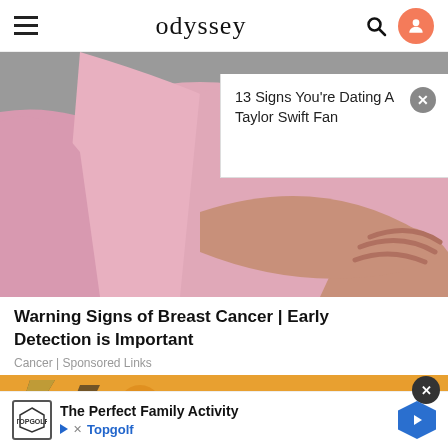odyssey
[Figure (photo): Person wearing a pink long-sleeve shirt pressing hand against chest/breast area, on grey background. Ad overlay visible: '13 Signs You're Dating A Taylor Swift Fan']
Warning Signs of Breast Cancer | Early Detection is Important
Cancer | Sponsored Links
[Figure (illustration): Cartoon illustration with orange lightning bolt characters. Bottom ad bar: 'The Perfect Family Activity' with Topgolf branding.]